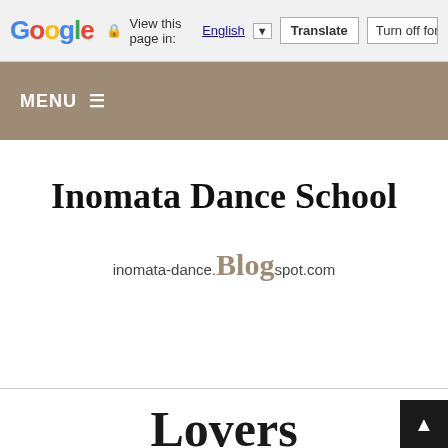Google  View this page in: English ▼  Translate  Turn off for: Ja
MENU ☰
Inomata Dance School
inomata-dance.Blog spot.com
Lovers